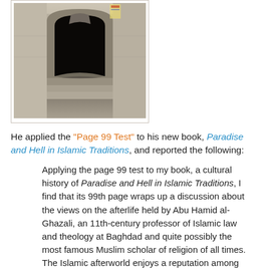[Figure (photo): Photograph of a stone archway/entrance, likely a historic Islamic architectural site, showing a dark arched doorway with steps leading down, surrounded by stone walls.]
He applied the “Page 99 Test” to his new book, Paradise and Hell in Islamic Traditions, and reported the following:
Applying the page 99 test to my book, a cultural history of Paradise and Hell in Islamic Traditions, I find that its 99th page wraps up a discussion about the views on the afterlife held by Abu Hamid al-Ghazali, an 11th-century professor of Islamic law and theology at Baghdad and quite possibly the most famous Muslim scholar of religion of all times. The Islamic afterworld enjoys a reputation among non-Muslims that is not exactly glowing. As I recapitulate in the introduction to the book, there is a long history of polemics against Islam that targets the Muslim